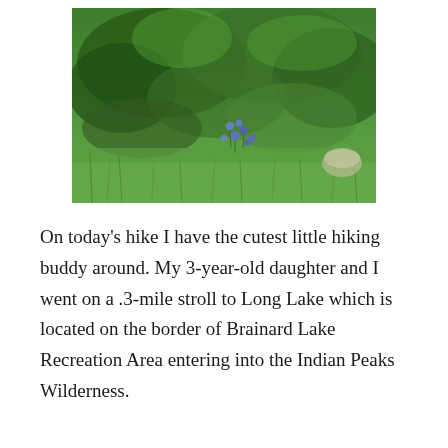[Figure (photo): Outdoor nature photograph showing dense green shrubs and tall grass with small blue wildflowers visible in the center-lower portion of the image, taken in a wilderness or recreation area.]
On today's hike I have the cutest little hiking buddy around. My 3-year-old daughter and I went on a .3-mile stroll to Long Lake which is located on the border of Brainard Lake Recreation Area entering into the Indian Peaks Wilderness.